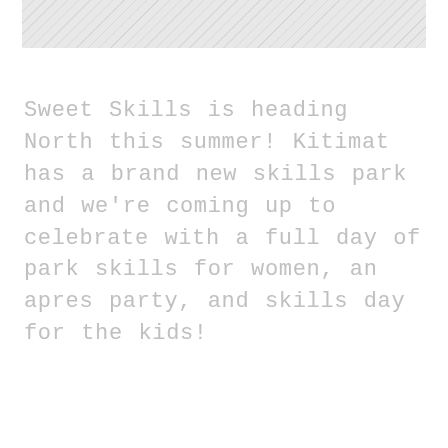[Figure (photo): Light grey textured background image, appears to be a snowy or overcast outdoor scene, cropped to a horizontal band at the top of the page]
Sweet Skills is heading North this summer! Kitimat has a brand new skills park and we're coming up to celebrate with a full day of park skills for women, an apres party, and skills day for the kids!